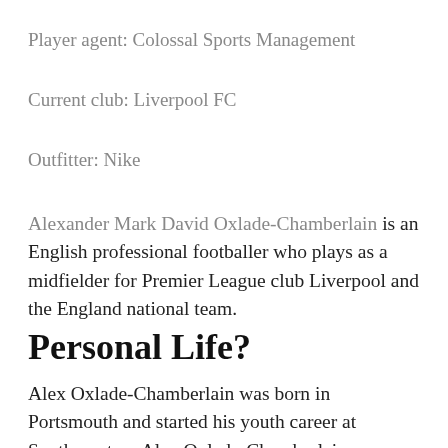Player agent: Colossal Sports Management
Current club: Liverpool FC
Outfitter: Nike
Alexander Mark David Oxlade-Chamberlain is an English professional footballer who plays as a midfielder for Premier League club Liverpool and the England national team.
Personal Life?
Alex Oxlade-Chamberlain was born in Portsmouth and started his youth career at Southampton. Alex Oxlade-Chamberlain comes from a true footballers family, Alex is the son of former England international football player Mark Chamberlain. He and his Neville nephew also...